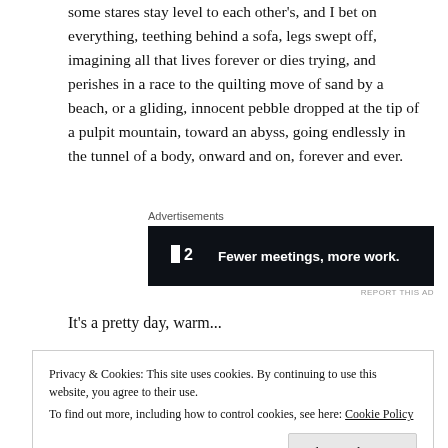some stares stay level to each other's, and I bet on everything, teething behind a sofa, legs swept off, imagining all that lives forever or dies trying, and perishes in a race to the quilting move of sand by a beach, or a gliding, innocent pebble dropped at the tip of a pulpit mountain, toward an abyss, going endlessly in the tunnel of a body, onward and on, forever and ever.
[Figure (other): Advertisement banner: dark background with Plan logo (P2) and text 'Fewer meetings, more work.']
It's a pretty day, warm...
Privacy & Cookies: This site uses cookies. By continuing to use this website, you agree to their use. To find out more, including how to control cookies, see here: Cookie Policy